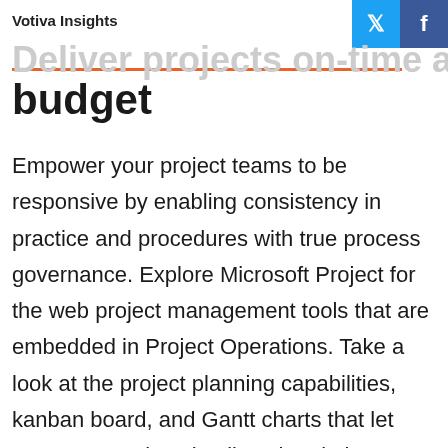Votiva Insights
Deliver projects on-time and on budget
Empower your project teams to be responsive by enabling consistency in practice and procedures with true process governance. Explore Microsoft Project for the web project management tools that are embedded in Project Operations. Take a look at the project planning capabilities, kanban board, and Gantt charts that let users see project timelines in relation to one another. The rise in the need for enhanced mobility among your project team members and delivering an outstanding customer experience is more important than ever, so ensure you explore